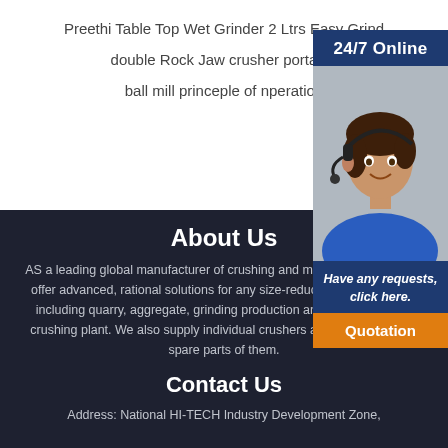Preethi Table Top Wet Grinder 2 Ltrs Easy Grind
double Rock Jaw crusher portable
ball mill princeple of nperation
[Figure (photo): Customer support agent with headset, sidebar widget showing 24/7 Online, Have any requests click here, and Quotation button]
About Us
AS a leading global manufacturer of crushing and milling equipment, we offer advanced, rational solutions for any size-reduction requirements, including quarry, aggregate, grinding production and complete stone crushing plant. We also supply individual crushers and mills as well as spare parts of them.
Contact Us
Address: National HI-TECH Industry Development Zone,